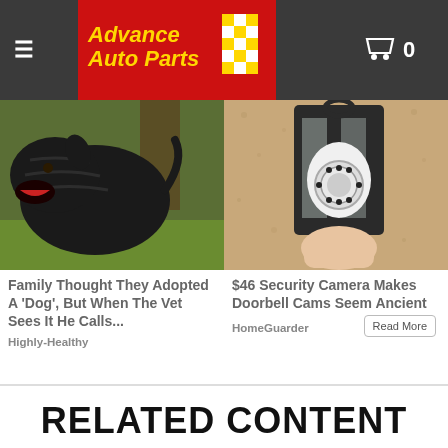Advance Auto Parts
[Figure (photo): Black dog (large breed) outdoors in grass, mouth open, near a tree]
Family Thought They Adopted A 'Dog', But When The Vet Sees It He Calls...
Highly-Healthy
[Figure (photo): Security camera shaped like a light bulb installed in an outdoor lantern fixture on a textured wall]
$46 Security Camera Makes Doorbell Cams Seem Ancient
HomeGuarder
RELATED CONTENT